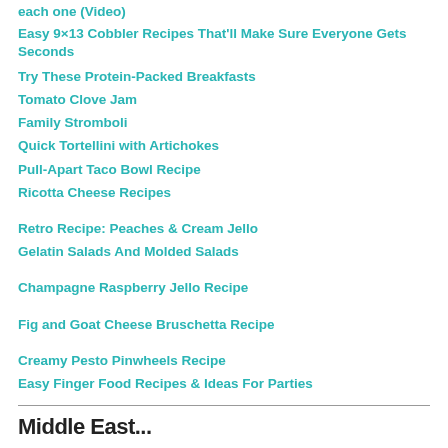each one (Video)
Easy 9×13 Cobbler Recipes That'll Make Sure Everyone Gets Seconds
Try These Protein-Packed Breakfasts
Tomato Clove Jam
Family Stromboli
Quick Tortellini with Artichokes
Pull-Apart Taco Bowl Recipe
Ricotta Cheese Recipes
Retro Recipe: Peaches &amp; Cream Jello
Gelatin Salads And Molded Salads
Champagne Raspberry Jello Recipe
Fig and Goat Cheese Bruschetta Recipe
Creamy Pesto Pinwheels Recipe
Easy Finger Food Recipes & Ideas For Parties
Middle East...